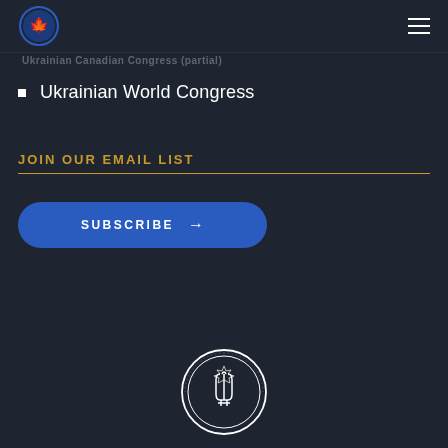Ukrainian Canadian Congress logo and hamburger menu
Ukrainian Canadian Congress (partial, clipped)
Ukrainian World Congress
JOIN OUR EMAIL LIST
SUBSCRIBE →
[Figure (logo): Ukrainian Canadian Congress circular seal/logo in white outline on dark background, centered at bottom of page]